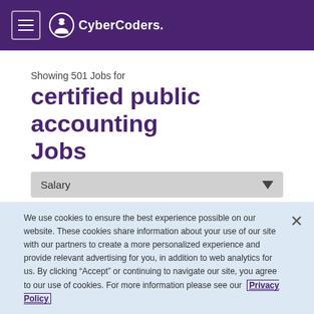CyberCoders.
Showing 501 Jobs for
certified public accounting Jobs
Salary
All Jobs  Full-Time  Contract  Remote Available
We use cookies to ensure the best experience possible on our website. These cookies share information about your use of our site with our partners to create a more personalized experience and provide relevant advertising for you, in addition to web analytics for us. By clicking "Accept" or continuing to navigate our site, you agree to our use of cookies. For more information please see our Privacy Policy